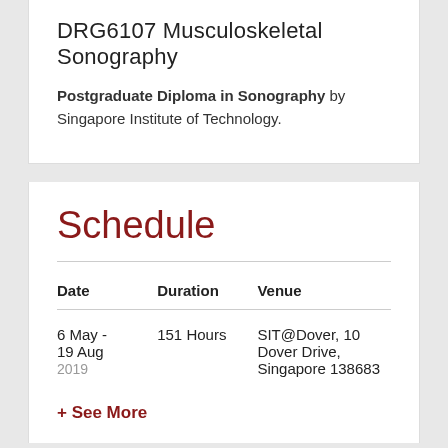DRG6107 Musculoskeletal Sonography
Postgraduate Diploma in Sonography by Singapore Institute of Technology.
Schedule
| Date | Duration | Venue |
| --- | --- | --- |
| 6 May - 19 Aug 2019 | 151 Hours | SIT@Dover, 10 Dover Drive, Singapore 138683 |
+ See More